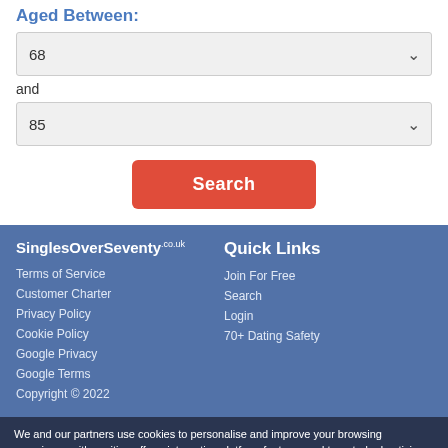Aged Between:
68
and
85
Search
SinglesOverSeventy.co.uk
Quick Links
Terms of Service
Customer Charter
Privacy Policy
Cookie Policy
Google Privacy
Google Terms
Copyright © 2022
Join For Free
Search
Login
70+ Dating Safety
We and our partners use cookies to personalise and improve your browsing experience with exciting offers, interactive platform features and targeted advertising. Read our cookie policy.
If you do not agree then please withdraw from using this site.
Yes, I agree